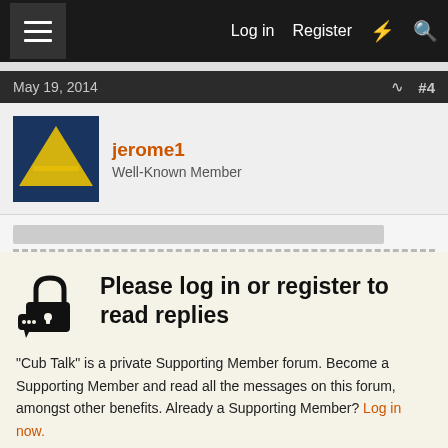Log in  Register
May 19, 2014  #4
jerome1
Well-Known Member
[Figure (illustration): Lock icon with chat bubble indicating private forum content]
Please log in or register to read replies
"Cub Talk" is a private Supporting Member forum. Become a Supporting Member and read all the messages on this forum, amongst other benefits. Already a Supporting Member? Log in now.
Log in
Register